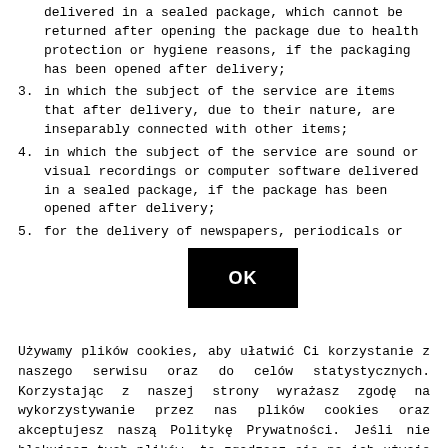2. in which the subject of the service is an item delivered in a sealed package, which cannot be returned after opening the package due to health protection or hygiene reasons, if the packaging has been opened after delivery;
3. in which the subject of the service are items that after delivery, due to their nature, are inseparably connected with other items;
4. in which the subject of the service are sound or visual recordings or computer software delivered in a sealed package, if the package has been opened after delivery;
5. for the delivery of newspapers, periodicals or
Używamy plików cookies, aby ułatwić Ci korzystanie z naszego serwisu oraz do celów statystycznych. Korzystając z naszej strony wyrażasz zgodę na wykorzystywanie przez nas plików cookies oraz akceptujesz naszą Politykę Prywatności. Jeśli nie blokujesz tych plików, to zgadzasz się na ich użycie oraz zapisanie w pamięci urządzenia. Pamiętaj, że możesz samodzielnie zarządzać cookies, zmieniając ustawienia przeglądarki.